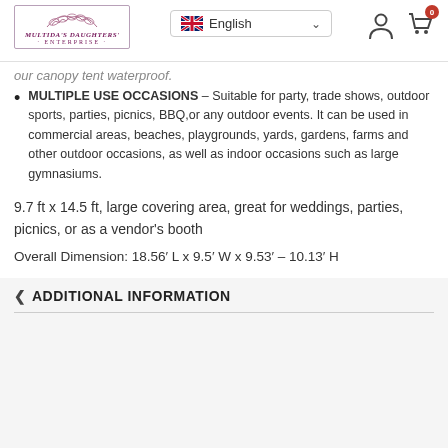Navigation bar with hamburger menu, language selector (English), logo (Multida's Daughters Enterprise), user icon, and cart icon (0)
our canopy tent waterproof.
MULTIPLE USE OCCASIONS – Suitable for party, trade shows, outdoor sports, parties, picnics, BBQ,or any outdoor events. It can be used in commercial areas, beaches, playgrounds, yards, gardens, farms and other outdoor occasions, as well as indoor occasions such as large gymnasiums.
9.7 ft x 14.5 ft, large covering area, great for weddings, parties, picnics, or as a vendor's booth
Overall Dimension: 18.56′ L x 9.5′ W x 9.53′ – 10.13′ H
ADDITIONAL INFORMATION